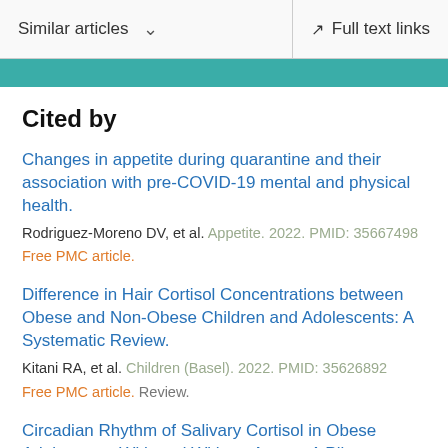Similar articles   Full text links
Cited by
Changes in appetite during quarantine and their association with pre-COVID-19 mental and physical health.
Rodriguez-Moreno DV, et al. Appetite. 2022. PMID: 35667498
Free PMC article.
Difference in Hair Cortisol Concentrations between Obese and Non-Obese Children and Adolescents: A Systematic Review.
Kitani RA, et al. Children (Basel). 2022. PMID: 35626892
Free PMC article. Review.
Circadian Rhythm of Salivary Cortisol in Obese Adolescents With and Without Apnea: A Pilot...